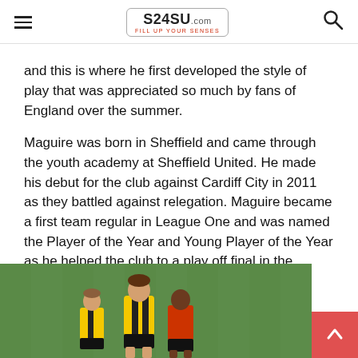S24SU.com — FILL UP YOUR SENSES
and this is where he first developed the style of play that was appreciated so much by fans of England over the summer.
Maguire was born in Sheffield and came through the youth academy at Sheffield United. He made his debut for the club against Cardiff City in 2011 as they battled against relegation. Maguire became a first team regular in League One and was named the Player of the Year and Young Player of the Year as he helped the club to a play off final in the 2011/12 season.
[Figure (photo): Football players on a green pitch, including Harry Maguire in a yellow and black striped kit.]